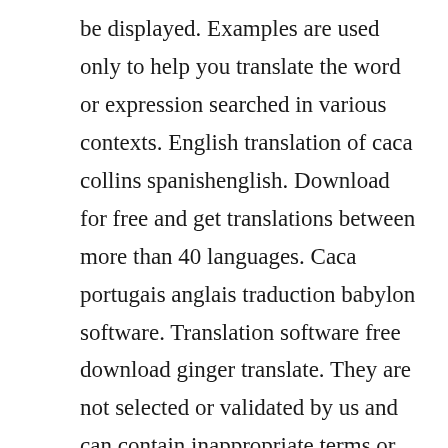be displayed. Examples are used only to help you translate the word or expression searched in various contexts. English translation of caca collins spanishenglish. Download for free and get translations between more than 40 languages. Caca portugais anglais traduction babylon software. Translation software free download ginger translate. They are not selected or validated by us and can contain inappropriate terms or ideas. Translation for caca in the free spanishenglish dictionary and many other english